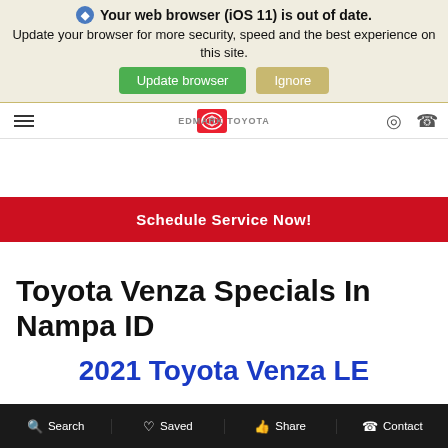[Figure (screenshot): Browser update notification banner with iOS 11 warning, 'Update browser' green button and 'Ignore' tan button]
EDMARK TOYOTA
Schedule Service Now!
Toyota Venza Specials In Nampa ID
2021 Toyota Venza LE
Search  Saved  Share  Contact